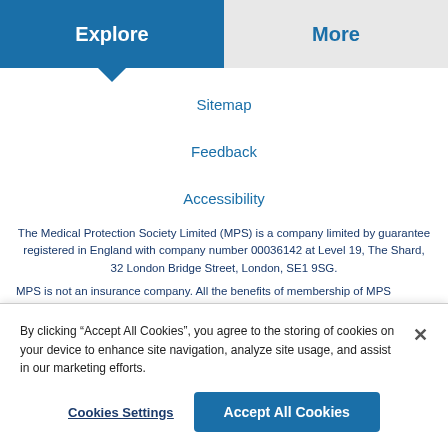Explore | More
Sitemap
Feedback
Accessibility
The Medical Protection Society Limited (MPS) is a company limited by guarantee registered in England with company number 00036142 at Level 19, The Shard, 32 London Bridge Street, London, SE1 9SG.
MPS is not an insurance company. All the benefits of membership of MPS
By clicking “Accept All Cookies”, you agree to the storing of cookies on your device to enhance site navigation, analyze site usage, and assist in our marketing efforts.
Cookies Settings
Accept All Cookies